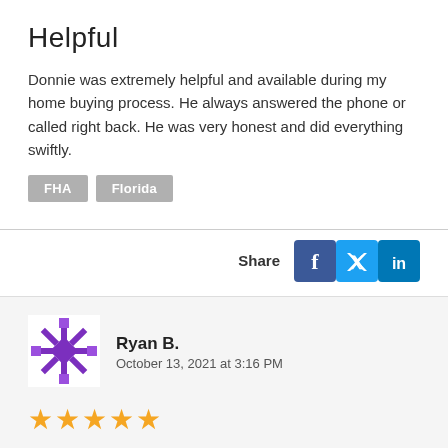Helpful
Donnie was extremely helpful and available during my home buying process. He always answered the phone or called right back. He was very honest and did everything swiftly.
FHA
Florida
Share
Ryan B.
October 13, 2021 at 3:16 PM
[Figure (other): Five yellow star rating]
Recommend's Donny